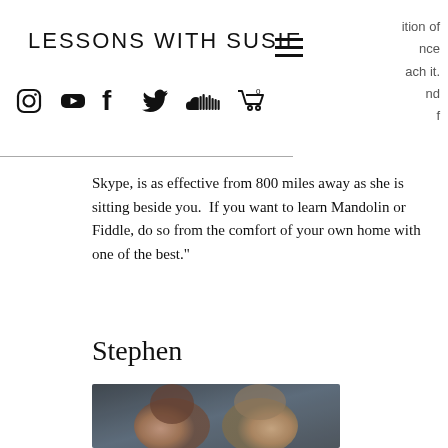LESSONS WITH SUSIE
ition of
nce
ach it.
nd
f
[Figure (other): Hamburger menu icon (three horizontal lines)]
[Figure (other): Social media icons: Instagram, YouTube, Facebook, Twitter, SoundCloud, Shopping cart]
Skype, is as effective from 800 miles away as she is sitting beside you.  If you want to learn Mandolin or Fiddle, do so from the comfort of your own home with one of the best."
Stephen
[Figure (photo): Blurred photo of two people (students or testimonial subjects)]